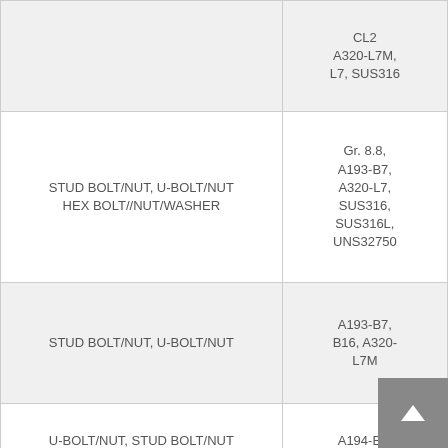| Item | Material/Grade |
| --- | --- |
|  | CL2
A320-L7M,
L7, SUS316 |
| STUD BOLT/NUT, U-BOLT/NUT
HEX BOLT//NUT/WASHER | Gr. 8.8,
A193-B7,
A320-L7,
SUS316,
SUS316L,
UNS32750 |
| STUD BOLT/NUT, U-BOLT/NUT | A193-B7,
B16, A320-
L7M |
| U-BOLT/NUT, STUD BOLT/NUT
INSULATION-PIN/ CAPWASHER,
COUNTERSUNK BOLT
EARTH-BOSS, SCREW | A194-B7,
B7M, A320-
L7, L7M,
SUS 316L, |